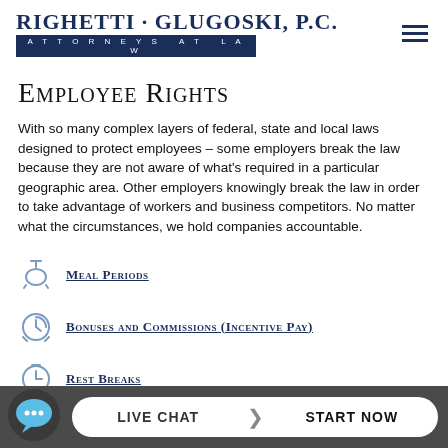RIGHETTI · GLUGOSKI, P.C. ATTORNEYS AT LAW
Employee Rights
With so many complex layers of federal, state and local laws designed to protect employees – some employers break the law because they are not aware of what's required in a particular geographic area. Other employers knowingly break the law in order to take advantage of workers and business competitors. No matter what the circumstances, we hold companies accountable.
Meal Periods
Bonuses and Commissions (Incentive Pay)
Rest Breaks
LIVE CHAT START NOW